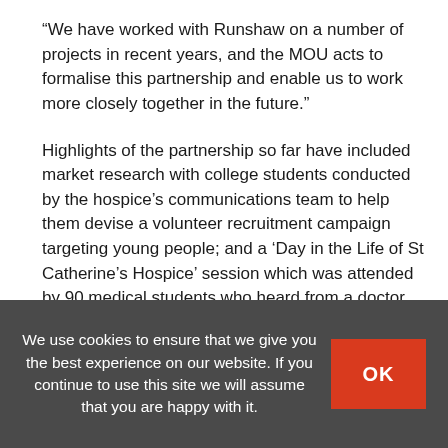“We have worked with Runshaw on a number of projects in recent years, and the MOU acts to formalise this partnership and enable us to work more closely together in the future.”
Highlights of the partnership so far have included market research with college students conducted by the hospice’s communications team to help them devise a volunteer recruitment campaign targeting young people; and a ‘Day in the Life of St Catherine’s Hospice’ session which was attended by 90 medical students who heard from a doctor, physiotherapist,
We use cookies to ensure that we give you the best experience on our website. If you continue to use this site we will assume that you are happy with it.